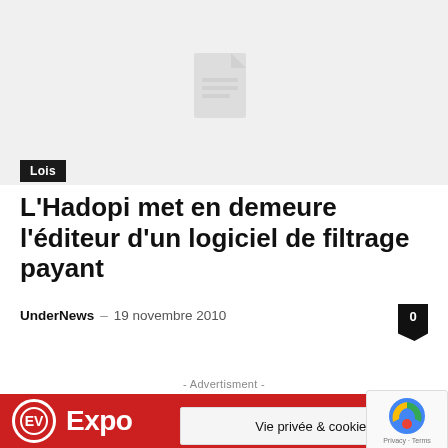[Figure (illustration): Grey placeholder hero image with a document/file icon in the center]
Lois
L'Hadopi met en demeure l'éditeur d'un logiciel de filtrage payant
UnderNews – 19 novembre 2010
- Advertisment -
[Figure (logo): Red advertisement banner with EV Expo logo and partial text]
Vie privée & cookies